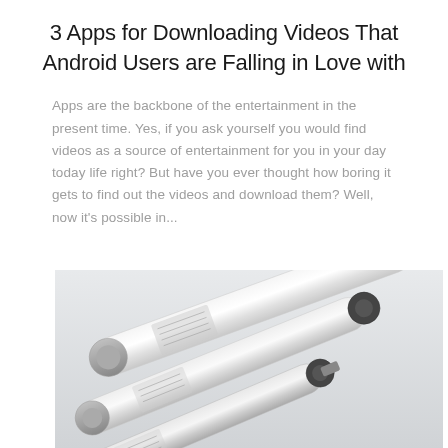3 Apps for Downloading Videos That Android Users are Falling in Love with
Apps are the backbone of the entertainment in the present time. Yes, if you ask yourself you would find videos as a source of entertainment for you in your day today life right? But have you ever thought how boring it gets to find out the videos and download them? Well, now it's possible in...
[Figure (photo): Photo of several white cylindrical linear actuators or electric motors arranged diagonally, with metallic end caps and small labels, on a light gray background.]